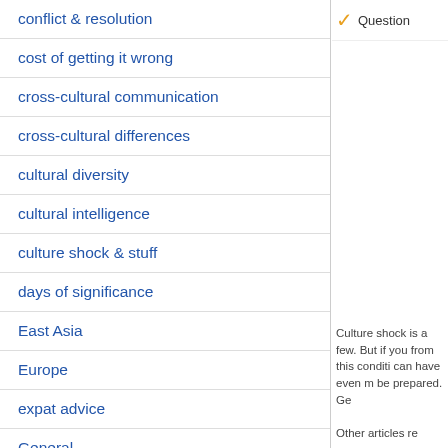conflict & resolution
cost of getting it wrong
cross-cultural communication
cross-cultural differences
cultural diversity
cultural intelligence
culture shock & stuff
days of significance
East Asia
Europe
expat advice
General
global teams
international business
marketing blunders
Question
Culture shock is a few. But if you from this conditi can have even m be prepared. Ge
Other articles re
What Is Culture